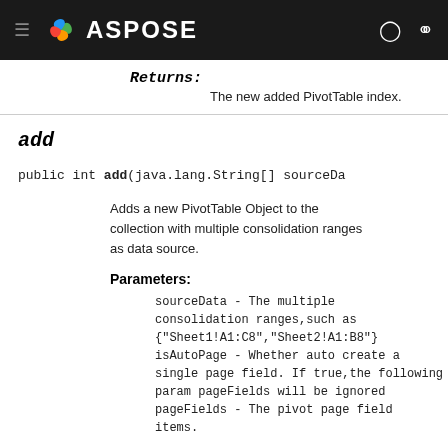ASPOSE
Returns:
The new added PivotTable index.
add
public int add(java.lang.String[] sourceData
Adds a new PivotTable Object to the collection with multiple consolidation ranges as data source.
Parameters:
sourceData - The multiple consolidation ranges,such as {"Sheet1!A1:C8","Sheet2!A1:B8"} isAutoPage - Whether auto create a single page field. If true,the following param pageFields will be ignored pageFields - The pivot page field items.